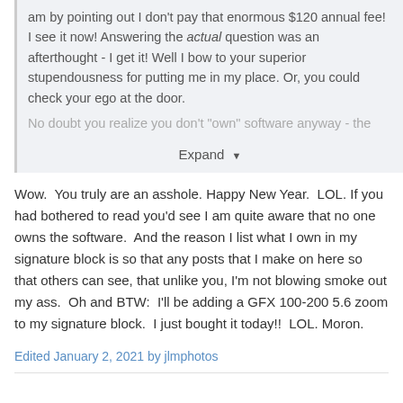am by pointing out I don't pay that enormous $120 annual fee! I see it now! Answering the actual question was an afterthought - I get it! Well I bow to your superior stupendousness for putting me in my place. Or, you could check your ego at the door.
No doubt you realize you don't "own" software anyway - the
Expand
Wow.  You truly are an asshole. Happy New Year.  LOL. If you had bothered to read you'd see I am quite aware that no one owns the software.  And the reason I list what I own in my signature block is so that any posts that I make on here so that others can see, that unlike you, I'm not blowing smoke out my ass.  Oh and BTW:  I'll be adding a GFX 100-200 5.6 zoom to my signature block.  I just bought it today!!  LOL. Moron.
Edited January 2, 2021 by jlmphotos